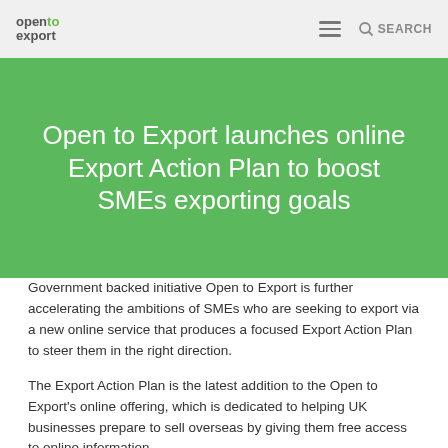open to export | SEARCH
Open to Export launches online Export Action Plan to boost SMEs exporting goals
Government backed initiative Open to Export is further accelerating the ambitions of SMEs who are seeking to export via a new online service that produces a focused Export Action Plan to steer them in the right direction.
The Export Action Plan is the latest addition to the Open to Export's online offering, which is dedicated to helping UK businesses prepare to sell overseas by giving them free access to online information